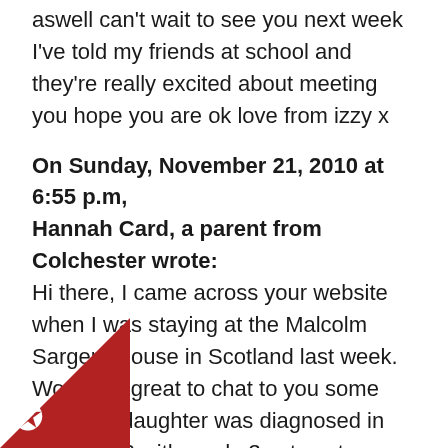aswell can't wait to see you next week I've told my friends at school and they're really excited about meeting you hope you are ok love from izzy x
On Sunday, November 21, 2010 at 6:55 p.m, Hannah Card, a parent from Colchester wrote: Hi there, I came across your website when I was staying at the Malcolm Sargent House in Scotland last week. Would be great to chat to you some time. My daughter was diagnosed in June 2008 with grade 3 astrocytoma and like poppy had no symptoms until one awful night. We've recently been told that she's relapsed and it would be great to speak to someone else who knows what were going through.